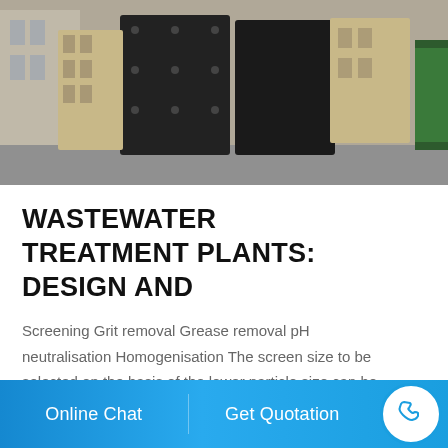[Figure (photo): Industrial wastewater treatment equipment — large black plastic/metal panels and components stacked in an outdoor yard, with a green container visible on the right.]
WASTEWATER TREATMENT PLANTS: DESIGN AND
Screening Grit removal Grease removal pH neutralisation Homogenisation The screen size to be selected on the basis of the lower particle size can be sieved and removed. Removal of sand and gravel, cotton fluff, other heavy solid materials, higher specific
Online Chat   Get Quotation